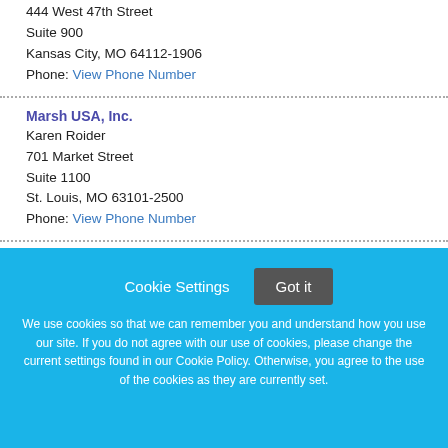444 West 47th Street
Suite 900
Kansas City, MO 64112-1906
Phone: View Phone Number
Marsh USA, Inc.
Karen Roider
701 Market Street
Suite 1100
St. Louis, MO 63101-2500
Phone: View Phone Number
New Lyfe Accounting
Jessica Krause
Cookie Settings  Got it
We use cookies so that we can remember you and understand how you use our site. If you do not agree with our use of cookies, please change the current settings found in our Cookie Policy. Otherwise, you agree to the use of the cookies as they are currently set.